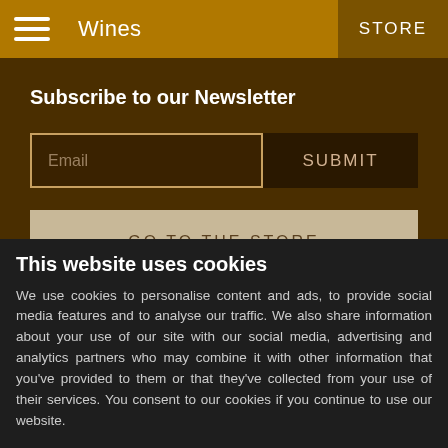Wines / STORE
Subscribe to our Newsletter
Email
SUBMIT
GO TO THE STORE
DOWNLOAD CATALOGUE
This website uses cookies
We use cookies to personalise content and ads, to provide social media features and to analyse our traffic. We also share information about your use of our site with our social media, advertising and analytics partners who may combine it with other information that you've provided to them or that they've collected from your use of their services. You consent to our cookies if you continue to use our website.